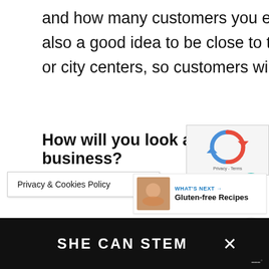and how many customers you expect to be serving. If possible, it's also a good idea to be close to transport links, such as train stations or city centers, so customers will be able to find you easily.
How will you look after your business?
[Figure (other): reCAPTCHA widget with logo and Privacy/Terms text overlay]
[Figure (other): Heart/like button (teal circle), count of 1, and share button]
Privacy & Cookies Policy
[Figure (other): What's Next arrow panel showing Gluten-free Recipes with thumbnail]
SHE CAN STEM